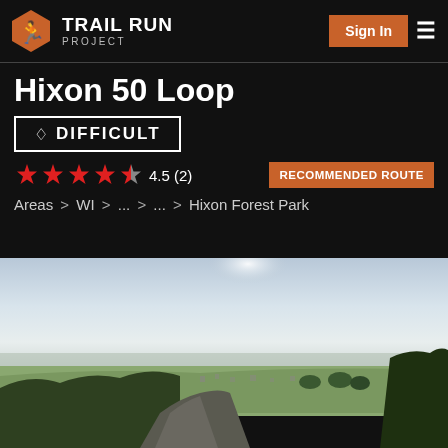Trail Run Project — Sign In
Hixon 50 Loop
DIFFICULT
4.5 (2) RECOMMENDED ROUTE
Areas > WI > ... > ... > Hixon Forest Park
[Figure (photo): Aerial panoramic view from a hilltop overlooking a valley with a road, green fields, trees, and a hazy sky]